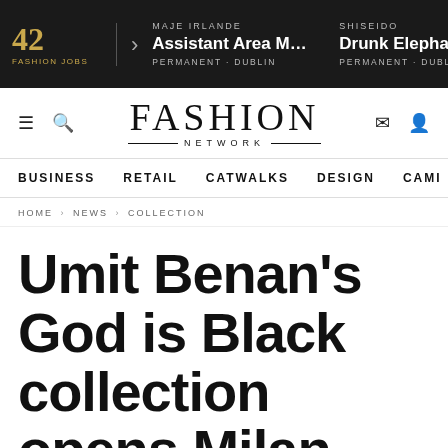42 FASHION JOBS | MAJE IRLANDE — Assistant Area Manag... PERMANENT - DUBLIN | SHISEIDO — Drunk Elephant Ac... PERMANENT - DUBLIN
[Figure (logo): FASHION NETWORK logo with decorative lines]
BUSINESS  RETAIL  CATWALKS  DESIGN  CAMI  >
HOME › NEWS › COLLECTION
Umit Benan's God is Black collection opens Milan